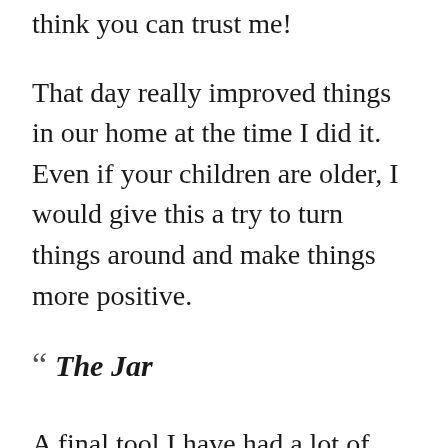think you can trust me!
That day really improved things in our home at the time I did it.  Even if your children are older, I would give this a try to turn things around and make things more positive.
“ The Jar
A final tool I have had a lot of success with in families I’ve worked with is The Jar.  It works best if there is something tangible that can be